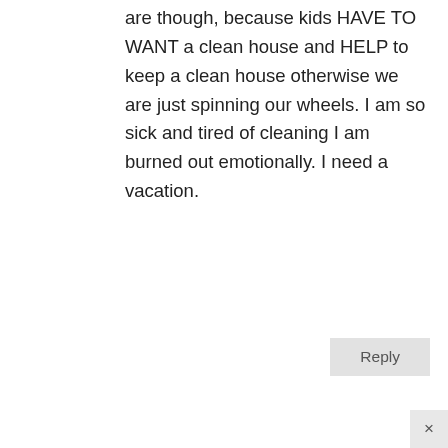are though, because kids HAVE TO WANT a clean house and HELP to keep a clean house otherwise we are just spinning our wheels. I am so sick and tired of cleaning I am burned out emotionally. I need a vacation.
Reply
Carol
December 31, 2014 at 2:17 pm
Katharine,
My daughter had 5 room mates at one point, in a 3 br, 2ba townhouse. Galley kitchen and a nice size living room for three. Quite small for 5. She was so fed up with having to pick up after every one.